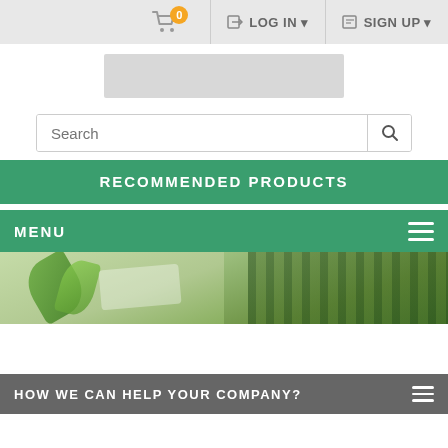[Figure (screenshot): E-commerce website screenshot showing top navigation bar with shopping cart (0 items), LOG IN and SIGN UP buttons]
[Figure (logo): Website logo placeholder (blurred/greyed out)]
Search
RECOMMENDED PRODUCTS
MENU
[Figure (photo): Hero banner image showing green plants or leaves and a keyboard/workspace in green tones]
HOW WE CAN HELP YOUR COMPANY?